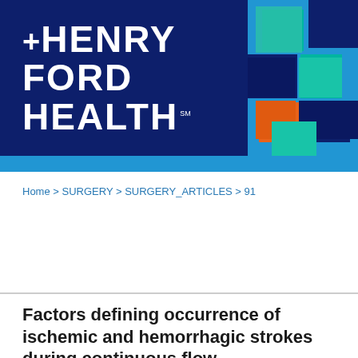[Figure (logo): Henry Ford Health logo with dark navy background on left showing 'HENRY FORD HEALTH' text in white bold font with a plus symbol, and a colorful mosaic tile pattern on the right side with teal, dark navy, orange, and cyan tiles on a blue background.]
Home > SURGERY > SURGERY_ARTICLES > 91
Factors defining occurrence of ischemic and hemorrhagic strokes during continuous flow...